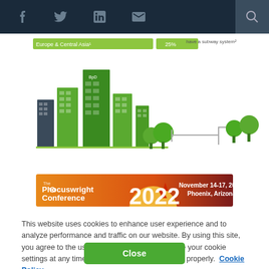Navigation bar with social icons: Facebook, Twitter, LinkedIn, Email, Search
[Figure (illustration): Infographic showing a city skyline with green buildings, trees, and a chart row labeled 'Europe & Central Asia' with 25%. Text on right side reads 'have a subway system']
[Figure (infographic): Phocuswright Conference 2022 banner ad. November 14-17, 2022, Phoenix, Arizona. Orange/red gradient with sun graphic and large '2022' text.]
This website uses cookies to enhance user experience and to analyze performance and traffic on our website. By using this site, you agree to the use of cookies. You may change your cookie settings at any time, but the site may not function properly.  Cookie Policy
Close